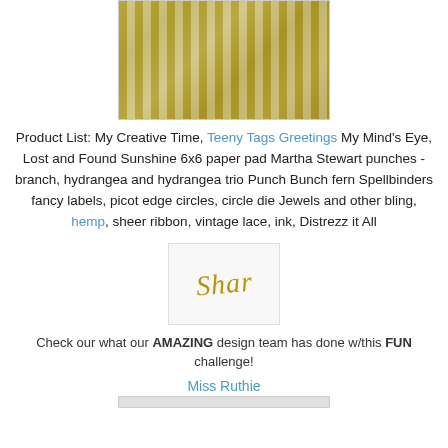[Figure (photo): A crafting/scrapbooking photo showing masquerade masks and decorative papers with gold and black colors, striped yellow background with text 'Just a note']
Product List: My Creative Time, Teeny Tags Greetings My Mind's Eye, Lost and Found Sunshine 6x6 paper pad Martha Stewart punches - branch, hydrangea and hydrangea trio Punch Bunch fern Spellbinders fancy labels, picot edge circles, circle die Jewels and other bling, hemp, sheer ribbon, vintage lace, ink, Distrezz it All
[Figure (illustration): Handwritten signature reading 'Shar' in gold/cursive script on a light background]
Check our what our AMAZING design team has done w/this FUN challenge!
Miss Ruthie